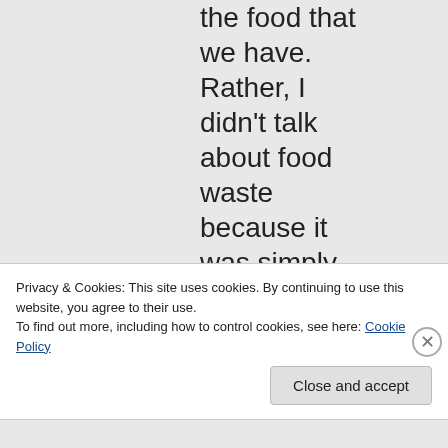the food that we have. Rather, I didn't talk about food waste because it was simply not within the scope of this post.
Privacy & Cookies: This site uses cookies. By continuing to use this website, you agree to their use.
To find out more, including how to control cookies, see here: Cookie Policy
Close and accept